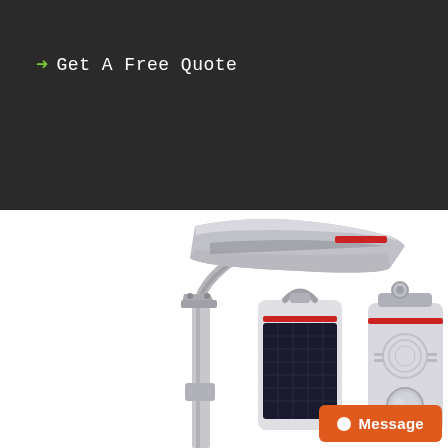→ Get A Free Quote
[Figure (photo): Product photo of an all-in-one solar street light showing three views: a full pole-mounted unit with the solar panel and LED light head, a standalone solar panel module from the front, and the back side of the unit showing a motion sensor. The components are silver/grey with red accent stripes.]
Message